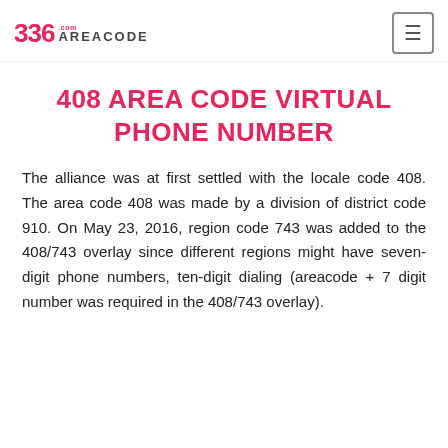336 AREACODE.com
408 AREA CODE VIRTUAL PHONE NUMBER
The alliance was at first settled with the locale code 408. The area code 408 was made by a division of district code 910. On May 23, 2016, region code 743 was added to the 408/743 overlay since different regions might have seven-digit phone numbers, ten-digit dialing (areacode + 7 digit number was required in the 408/743 overlay).